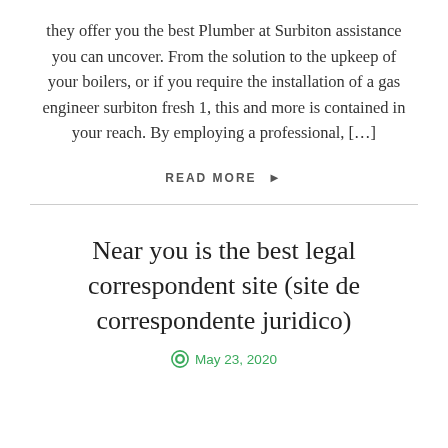they offer you the best Plumber at Surbiton assistance you can uncover. From the solution to the upkeep of your boilers, or if you require the installation of a gas engineer surbiton fresh 1, this and more is contained in your reach. By employing a professional, […]
READ MORE ▶
Near you is the best legal correspondent site (site de correspondente juridico)
May 23, 2020